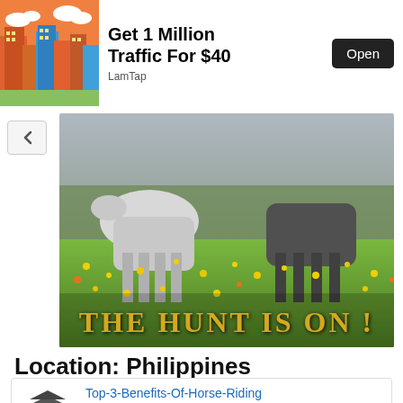[Figure (screenshot): Ad banner: city illustration on left, text 'Get 1 Million Traffic For $40' by LamTap, with Open button]
[Figure (photo): Horses running in a flower field with text 'THE HUNT IS ON !' overlaid in gold letters]
Location: Philippines
[Figure (screenshot): Article card with graduation cap icon, link 'Top-3-Benefits-Of-Horse-Riding', submitted by rai, about 2 days ago, Share link]